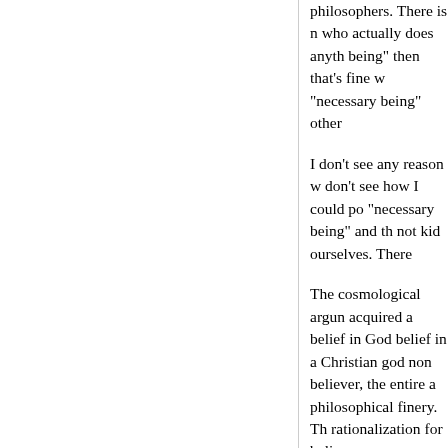philosophers. There is no one who actually does anyth being" then that's fine w "necessary being" other
I don't see any reason w don't see how I could po "necessary being" and th not kid ourselves. There
The cosmological argun acquired a belief in God belief in a Christian god non believer, the entire a philosophical finery. Th rationalization for believ
Here's an example of the that Pruss is trying to co and that principle leads